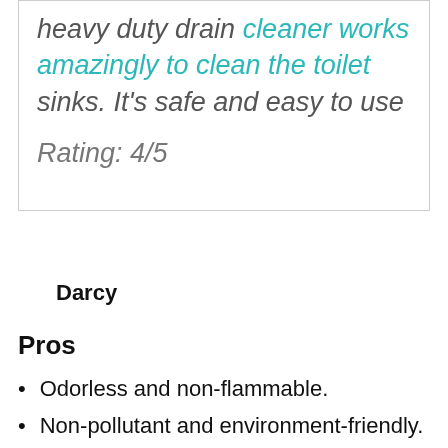heavy duty drain cleaner works amazingly to clean the toilet sinks. It's safe and easy to use

Rating: 4/5
Darcy
Pros
Odorless and non-flammable.
Non-pollutant and environment-friendly.
Septic safe and biodegradable.